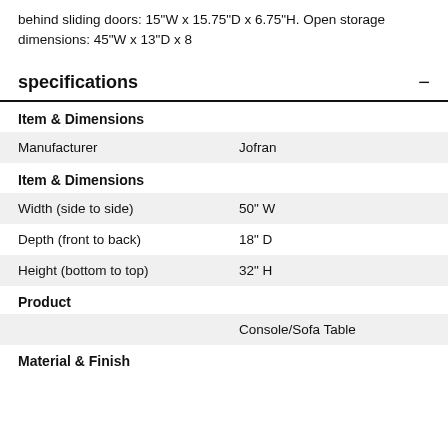behind sliding doors: 15"W x 15.75"D x 6.75"H. Open storage dimensions: 45"W x 13"D x 8
specifications
| Item & Dimensions |  |
| Manufacturer | Jofran |
| Item & Dimensions |  |
| Width (side to side) | 50" W |
| Depth (front to back) | 18" D |
| Height (bottom to top) | 32" H |
| Product |  |
|  | Console/Sofa Table |
Material & Finish